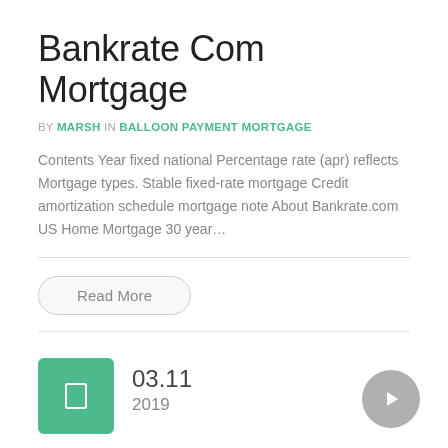Bankrate Com Mortgage
BY MARSH IN BALLOON PAYMENT MORTGAGE
Contents Year fixed national Percentage rate (apr) reflects Mortgage types. Stable fixed-rate mortgage Credit amortization schedule mortgage note About Bankrate.com US Home Mortgage 30 year…
Read More
03.11
2019
Farm Loan Calculator